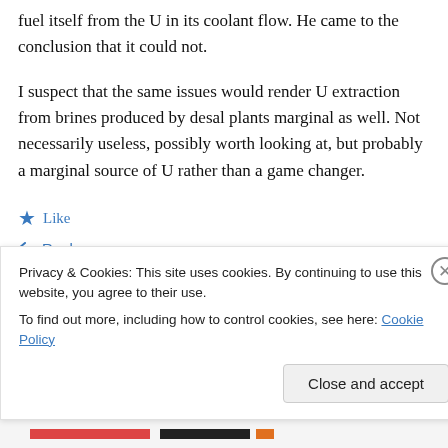fuel itself from the U in its coolant flow. He came to the conclusion that it could not.
I suspect that the same issues would render U extraction from brines produced by desal plants marginal as well. Not necessarily useless, possibly worth looking at, but probably a marginal source of U rather than a game changer.
★ Like
↩ Reply
Privacy & Cookies: This site uses cookies. By continuing to use this website, you agree to their use.
To find out more, including how to control cookies, see here: Cookie Policy